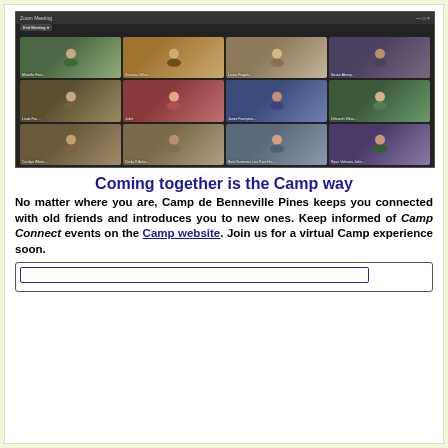[Figure (screenshot): Zoom video call screenshot showing 12 participants in a 4x3 grid layout, with dark background and participant name labels]
Coming together is the Camp way
No matter where you are, Camp de Benneville Pines keeps you connected with old friends and introduces you to new ones. Keep informed of Camp Connect events on the Camp website. Join us for a virtual Camp experience soon.